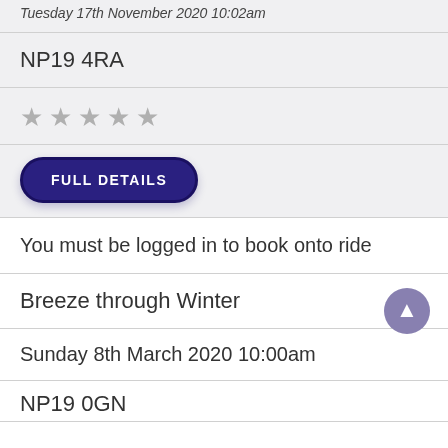Tuesday 17th November 2020 10:02am
NP19 4RA
★ ★ ★ ★ ★ (5 empty stars rating)
FULL DETAILS
You must be logged in to book onto ride
Breeze through Winter
Sunday 8th March 2020 10:00am
NP19 0GN